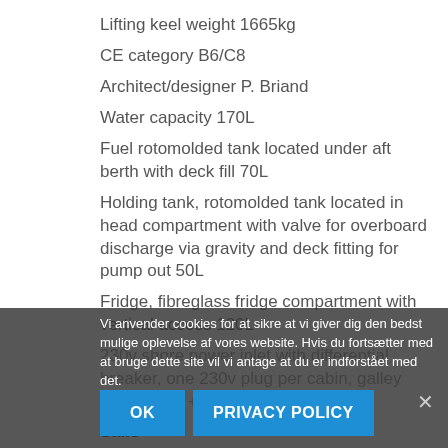Lifting keel weight 1665kg
CE category B6/C8
Architect/designer P. Briand
Water capacity 170L
Fuel rotomolded tank located under aft berth with deck fill 70L
Holding tank, rotomolded tank located in head compartment with valve for overboard discharge via gravity and deck fitting for pump out 50L
Fridge, fibreglass fridge compartment with vertical access 120L
230v shore power inlet with differential breaker, one 230v plug per cabin, galley and saloon + 25A Cristec charger
Sails
Classic... Bainbridge sailcloth, Rutgerson stainless steel eyes and 2 reinforced corners...
Vi anvender cookies for at sikre at vi giver dig den bedst mulige oplevelse af vores website. Hvis du fortsætter med at bruge dette site vil vi antage at du er indforstået med det.